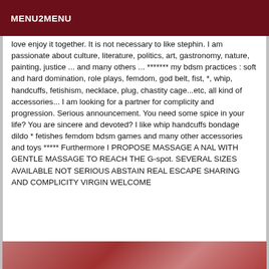MENU2MENU
love enjoy it together. It is not necessary to like stephin. I am passionate about culture, literature, politics, art, gastronomy, nature, painting, justice ... and many others ... ******* my bdsm practices : soft and hard domination, role plays, femdom, god belt, fist, *, whip, handcuffs, fetishism, necklace, plug, chastity cage...etc, all kind of accessories... I am looking for a partner for complicity and progression. Serious announcement. You need some spice in your life? You are sincere and devoted? I like whip handcuffs bondage dildo * fetishes femdom bdsm games and many other accessories and toys ***** Furthermore I PROPOSE MASSAGE A NAL WITH GENTLE MASSAGE TO REACH THE G-spot. SEVERAL SIZES AVAILABLE NOT SERIOUS ABSTAIN REAL ESCAPE SHARING AND COMPLICITY VIRGIN WELCOME
[Figure (photo): Reddish/pink textured background image strip at the bottom of the page]